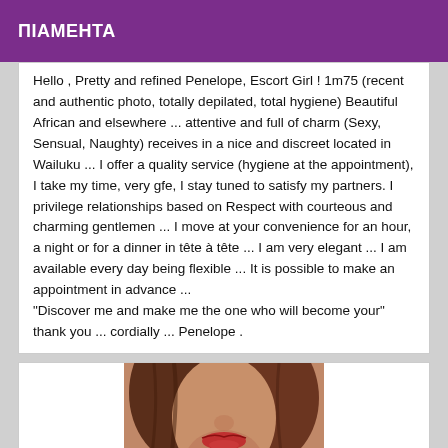PIAMEHTA
Hello , Pretty and refined Penelope, Escort Girl ! 1m75 (recent and authentic photo, totally depilated, total hygiene) Beautiful African and elsewhere ... attentive and full of charm (Sexy, Sensual, Naughty) receives in a nice and discreet located in Wailuku ... I offer a quality service (hygiene at the appointment), I take my time, very gfe, I stay tuned to satisfy my partners. I privilege relationships based on Respect with courteous and charming gentlemen ... I move at your convenience for an hour, a night or for a dinner in tête à tête ... I am very elegant ... I am available every day being flexible ... It is possible to make an appointment in advance ... "Discover me and make me the one who will become your" thank you ... cordially ... Penelope .
[Figure (photo): Partial photo of a woman with brown/red hair, showing face from nose down with red lips, close-up portrait style]